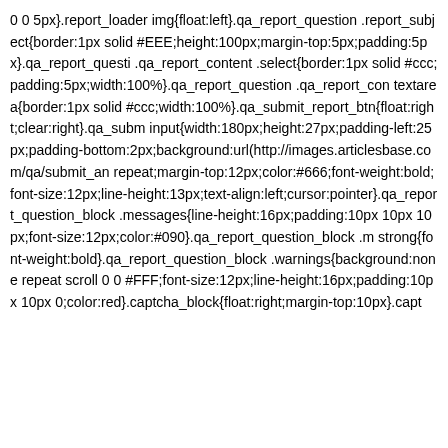0 0 5px}.report_loader img{float:left}.qa_report_question .report_subject{border:1px solid #EEE;height:100px;margin-top:5px;padding:5px}.qa_report_questi .qa_report_content .select{border:1px solid #ccc;padding:5px;width:100%}.qa_report_question .qa_report_con textarea{border:1px solid #ccc;width:100%}.qa_submit_report_btn{float:right;clear:right}.qa_subm input{width:180px;height:27px;padding-left:25px;padding-bottom:2px;background:url(http://images.articlesbase.com/qa/submit_an repeat;margin-top:12px;color:#666;font-weight:bold;font-size:12px;line-height:13px;text-align:left;cursor:pointer}.qa_report_question_block .messages{line-height:16px;padding:10px 10px 10px 10px;font-size:12px;color:#090}.qa_report_question_block .m strong{font-weight:bold}.qa_report_question_block .warnings{background:none repeat scroll 0 0 #FFF;font-size:12px;line-height:16px;padding:10px 10px 10px 0;color:red}.captcha_block{float:right;margin-top:10px}.capt